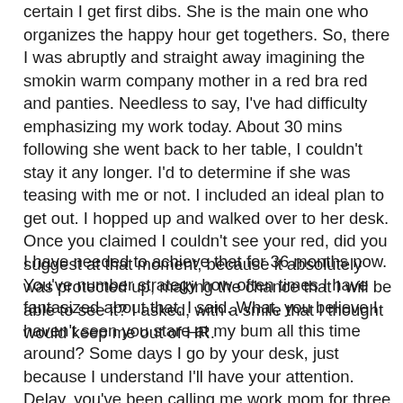certain I get first dibs. She is the main one who organizes the happy hour get togethers. So, there I was abruptly and straight away imagining the smokin warm company mother in a red bra red and panties. Needless to say, I've had difficulty emphasizing my work today. About 30 mins following she went back to her table, I couldn't stay it any longer. I'd to determine if she was teasing with me or not. I included an ideal plan to get out. I hopped up and walked over to her desk. Once you claimed I couldn't see your red, did you suggest at that moment, because it absolutely was protected up, making the chance that I will be able to see it? I asked, with a smile that I thought would keep me out of HR.
I have needed to achieve that for 36 months now. You've number strategy how often times I have fantasized about that, I said. What, you believe I haven't seen you stare at my bum all this time around? Some days I go by your desk, just because I understand I'll have your attention. Delay, you've been calling me work mom for three years. Does which make that odd? she asked. Oh hell, I hadn't even considered